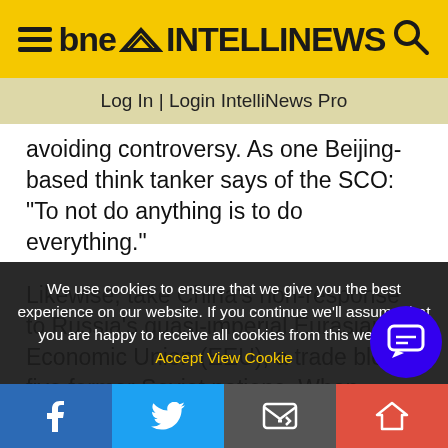bne INTELLINEWS
Log In | Login IntelliNews Pro
avoiding controversy. As one Beijing-based think tanker says of the SCO: “To not do anything is to do everything.”
Likewise, take China’s non-response to Russia’s quasi-imperial Eurasian Economic Union (EEU), a trade bloc of five former Soviet nations. When Moscow launched the EEU in 2015, Beijing was confident it would change little. Sure enough, a brief dip in China-Central Asia trade followed and the
We use cookies to ensure that we give you the best experience on our website. If you continue we'll assume that you are happy to receive all cookies from this website. Accept  View Cookie